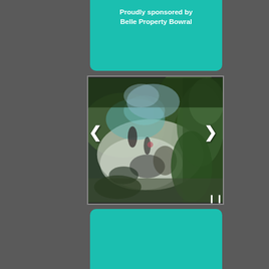Proudly sponsored by Belle Property Bowral
[Figure (photo): An abstract or impressionistic painting showing a rocky or mossy landscape with greens, whites, and dark tones, displayed in a slideshow widget with left and right navigation arrows and a pause button.]
[Figure (other): Teal/turquoise colored card or panel at the bottom, partially visible]